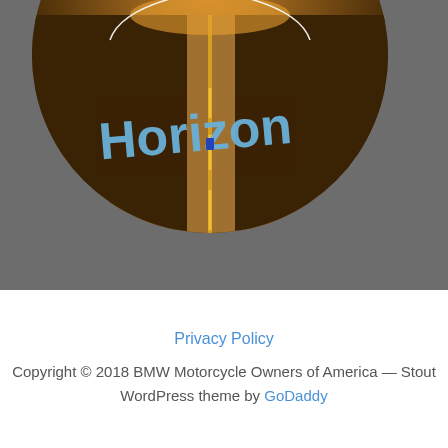[Figure (logo): Circular logo showing a road receding into the horizon with motorcycle handlebars overlaid, text reading 'the Horizon' in blue lettering on the road, brown/amber tones, on a grey background. The bottom half of the circle is visible.]
Privacy Policy
Copyright © 2018 BMW Motorcycle Owners of America — Stout WordPress theme by GoDaddy